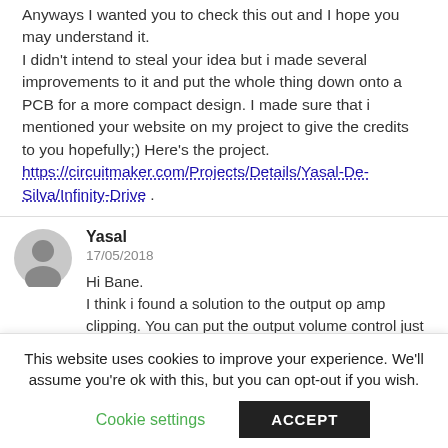Anyways I wanted you to check this out and I hope you may understand it.
I didn't intend to steal your idea but i made several improvements to it and put the whole thing down onto a PCB for a more compact design. I made sure that i mentioned your website on my project to give the credits to you hopefully;) Here's the project. https://circuitmaker.com/Projects/Details/Yasal-De-Silva/Infinity-Drive .
Yasal
17/05/2018
Hi Bane.
I think i found a solution to the output op amp clipping. You can put the output volume control just before the output op amp. Thereby you can adjust the volume just before it starts to clip the output stage.
Also another useful mod would be to connect the clipping section to a flick switch which can send the clipped signal
This website uses cookies to improve your experience. We'll assume you're ok with this, but you can opt-out if you wish.
Cookie settings
ACCEPT